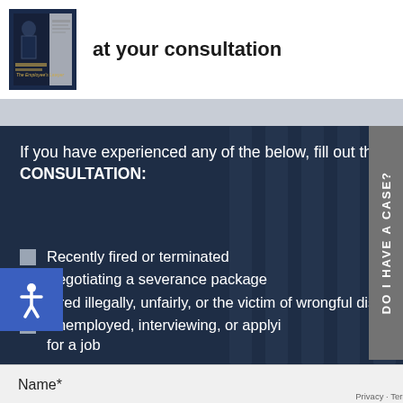[Figure (photo): Book cover with person in suit (The Employee's Lawyer), partially visible]
at your consultation
If you have experienced any of the below, fill out the form to the right to set up your FREE PHONE CONSULTATION:
Recently fired or terminated
Negotiating a severance package
Fired illegally, unfairly, or the victim of wrongful discharge
Unemployed, interviewing, or applying for a job
Name*
Privacy · Terms